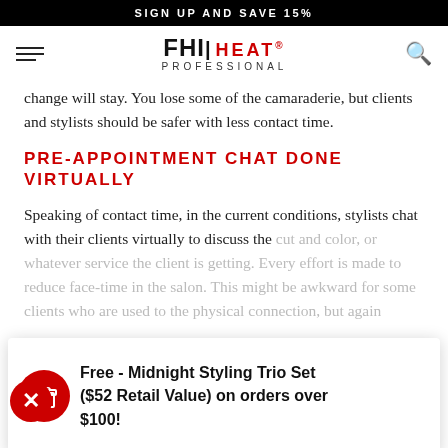SIGN UP AND SAVE 15%
[Figure (logo): FHI HEAT PROFESSIONAL logo with hamburger menu and search icon]
change will stay. You lose some of the camaraderie, but clients and stylists should be safer with less contact time.
PRE-APPOINTMENT CHAT DONE VIRTUALLY
Speaking of contact time, in the current conditions, stylists chat with their clients virtually to discuss the cut and color, or whatever service the client is getting. Every effort is made to reduce face-time in the salon. This might be awkward for some clients who are used to the physical connection, but again this will help people be safer.
Free - Midnight Styling Trio Set ($52 Retail Value) on orders over $100!
AIR QUALITY